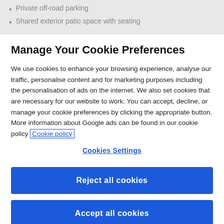Private off-road parking
Shared exterior patio space with seating
Manage Your Cookie Preferences
We use cookies to enhance your browsing experience, analyse our traffic, personalise content and for marketing purposes including the personalisation of ads on the internet. We also set cookies that are necessary for our website to work. You can accept, decline, or manage your cookie preferences by clicking the appropriate button. More information about Google ads can be found in our cookie policy Cookie policy
Cookies Settings
Reject all cookies
Accept all cookies